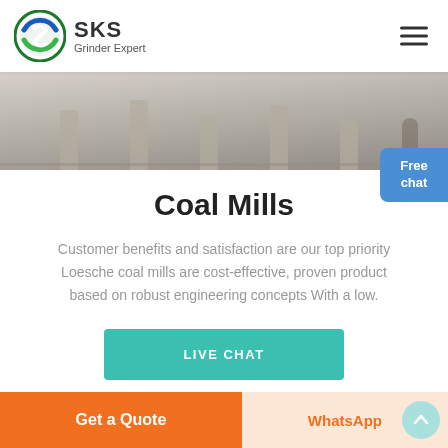SKS Grinder Expert
[Figure (photo): Industrial grinding facility interior with machinery and workers visible at the top of the page]
Coal Mills
Customer benefits and satisfaction are our top priority Loesche coal mills are cost-effective, proven product based on robust engineering concepts With a low.
LIVE CHAT
Get a Quote
WhatsApp